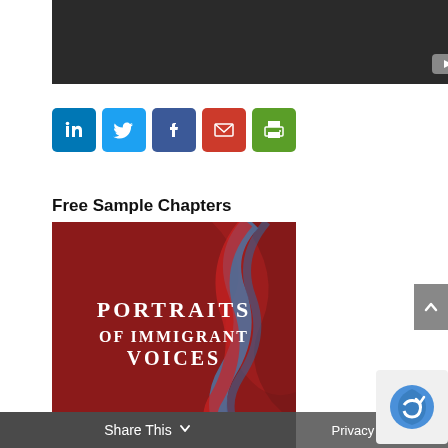[Figure (screenshot): Dark video player placeholder with YouTube button in bottom right]
[Figure (infographic): Row of social share icon buttons: LinkedIn (blue), Twitter (light blue), Facebook (dark blue), Email (red), Print (green)]
Free Sample Chapters
[Figure (photo): Book cover for 'Portraits of Immigrant Voices' — dark red background with abstract flowing shapes and white serif title text]
Share This   Privacy Policy